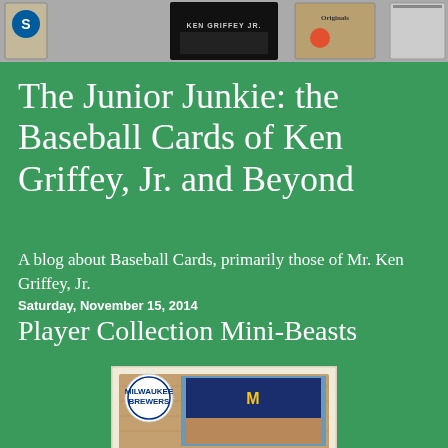[Figure (photo): Header banner showing baseball cards including Ken Griffey Jr. card in center]
The Junior Junkie: the Baseball Cards of Ken Griffey, Jr. and Beyond
A blog about Baseball Cards, primarily those of Mr. Ken Griffey, Jr.
Saturday, November 15, 2014
Player Collection Mini-Beasts
[Figure (photo): Baseball card showing a player in Milwaukee Brewers hat and uniform with Brewers logo circle in upper left, wood frame border]